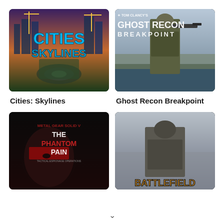[Figure (screenshot): Cities: Skylines game cover art showing city aerial view with blue logo text]
Cities: Skylines
[Figure (screenshot): Tom Clancy's Ghost Recon Breakpoint game cover art showing armed soldier]
Ghost Recon Breakpoint
[Figure (screenshot): Metal Gear Solid V: The Phantom Pain game cover art]
[Figure (screenshot): Battlefield game cover art partially visible]